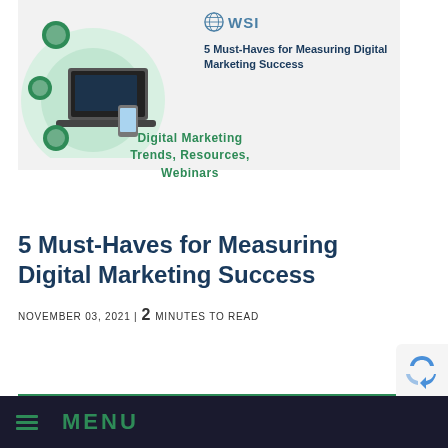[Figure (illustration): WSI branded thumbnail image showing a laptop and digital marketing icons on a light gray background with the text '5 Must-Haves for Measuring Digital Marketing Success' and the WSI globe logo]
Digital Marketing Trends, Resources, Webinars
5 Must-Haves for Measuring Digital Marketing Success
NOVEMBER 03, 2021 | 2 MINUTES TO READ
READ MORE